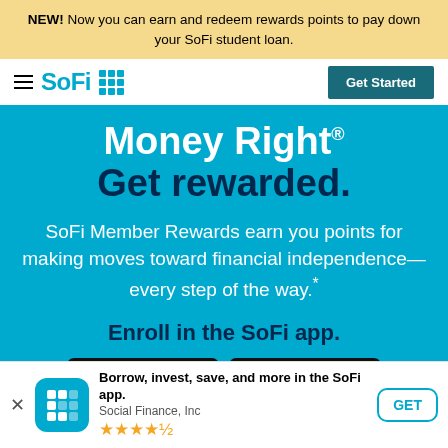NEW! Now you can earn and redeem rewards points to pay down your SoFi student loan.
[Figure (logo): SoFi logo with hamburger menu and grid icon]
[Figure (other): Get Started button]
Money Right® Get rewarded.
SoFi Member Rewards earn you points for making moves toward financial independence—every step of the way.*
Enroll in the SoFi app.
[Figure (screenshot): App store download buttons (Apple App Store and Google Play)]
Borrow, invest, save, and more in the SoFi app. Social Finance, Inc